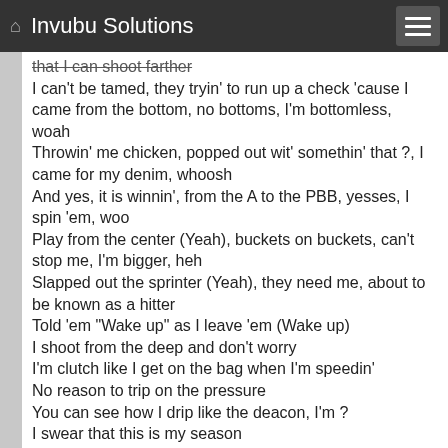Invubu Solutions
that I can shoot farther
I can't be tamed, they tryin' to run up a check 'cause I came from the bottom, no bottoms, I'm bottomless, woah
Throwin' me chicken, popped out wit' somethin' that ?, I came for my denim, whoosh
And yes, it is winnin', from the A to the PBB, yesses, I spin 'em, woo
Play from the center (Yeah), buckets on buckets, can't stop me, I'm bigger, heh
Slapped out the sprinter (Yeah), they need me, about to be known as a hitter
Told 'em "Wake up" as I leave 'em (Wake up)
I shoot from the deep and don't worry
I'm clutch like I get on the bag when I'm speedin'
No reason to trip on the pressure
You can see how I drip like the deacon, I'm ?
I swear that this is my season